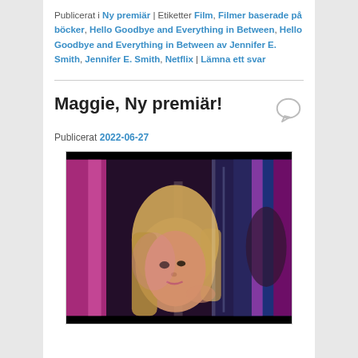Publicerat i Ny premiär | Etiketter Film, Filmer baserade på böcker, Hello Goodbye and Everything in Between, Hello Goodbye and Everything in Between av Jennifer E. Smith, Jennifer E. Smith, Netflix | Lämna ett svar
Maggie, Ny premiär!
Publicerat 2022-06-27
[Figure (photo): A young blonde woman looking upward in a colorful neon-lit environment with pink and blue tones]